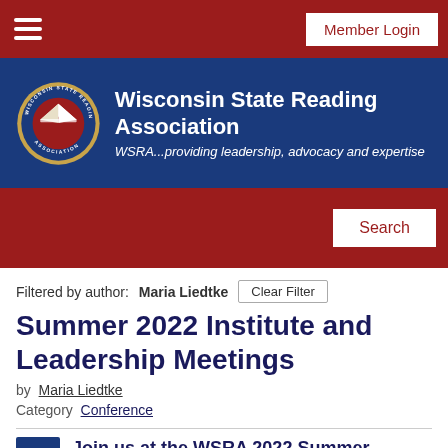Member Login
[Figure (logo): Wisconsin State Reading Association logo — circular badge with open book on red background, surrounded by text 'WISCONSIN STATE READING ASSOCIATION']
Wisconsin State Reading Association
WSRA...providing leadership, advocacy and expertise
Filtered by author: Maria Liedtke  Clear Filter
Summer 2022 Institute and Leadership Meetings
by Maria Liedtke
Category Conference
Join us at the WSRA 2022 Summer Institute